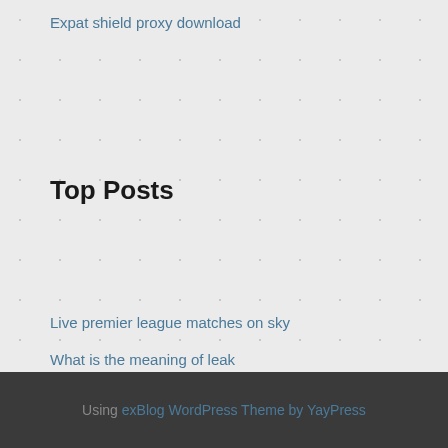Expat shield proxy download
Top Posts
Live premier league matches on sky
What is the meaning of leak
Route traffic through vpn
Vpn add
Vpnsecure problem checking ip location
Using exBlog WordPress Theme by YayPress